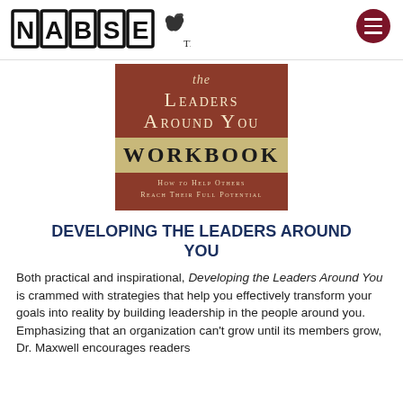[Figure (logo): NABSE logo with apple icon and TM mark, plus hamburger menu button in dark red circle]
[Figure (photo): Book cover for 'The Leaders Around You Workbook: How to Help Others Reach Their Full Potential' — terracotta/brown cover with gold band]
DEVELOPING THE LEADERS AROUND YOU
Both practical and inspirational, Developing the Leaders Around You is crammed with strategies that help you effectively transform your goals into reality by building leadership in the people around you. Emphasizing that an organization can't grow until its members grow, Dr. Maxwell encourages readers